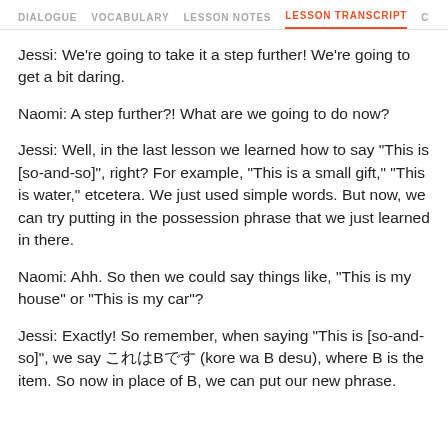DIALOGUE  VOCABULARY  LESSON NOTES  LESSON TRANSCRIPT  C
Jessi: We're going to take it a step further! We're going to get a bit daring.
Naomi: A step further?! What are we going to do now?
Jessi: Well, in the last lesson we learned how to say "This is [so-and-so]", right? For example, "This is a small gift," "This is water," etcetera. We just used simple words. But now, we can try putting in the possession phrase that we just learned in there.
Naomi: Ahh. So then we could say things like, "This is my house" or "This is my car"?
Jessi: Exactly! So remember, when saying "This is [so-and-so]", we say これはBです (kore wa B desu), where B is the item. So now in place of B, we can put our new phrase.